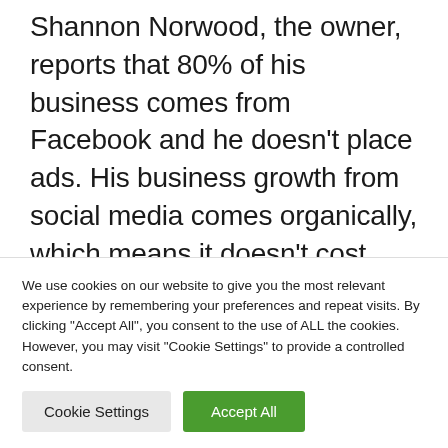Shannon Norwood, the owner, reports that 80% of his business comes from Facebook and he doesn't place ads. His business growth from social media comes organically, which means it doesn't cost him anything but his time.
Another small business, which
We use cookies on our website to give you the most relevant experience by remembering your preferences and repeat visits. By clicking "Accept All", you consent to the use of ALL the cookies. However, you may visit "Cookie Settings" to provide a controlled consent.